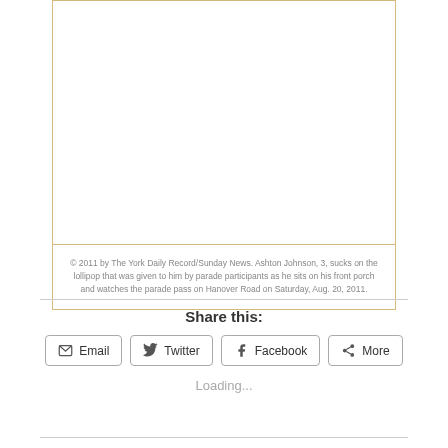[Figure (photo): Empty image placeholder area with gold/tan border]
© 2011 by The York Daily Record/Sunday News. Ashton Johnson, 3, sucks on the lollipop that was given to him by parade participants as he sits on his front porch and watches the parade pass on Hanover Road on Saturday, Aug. 20, 2011.
Share this:
Email  Twitter  Facebook  More
Loading...